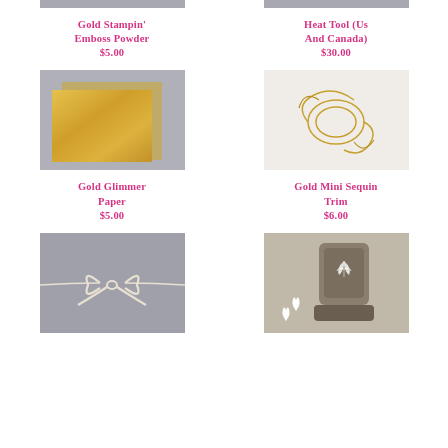[Figure (photo): Gold emboss powder product image (top, partially cropped)]
Gold Stampin' Emboss Powder
$5.00
[Figure (photo): Heat tool product image (top, partially cropped)]
Heat Tool (Us And Canada)
$30.00
[Figure (photo): Gold glimmer paper sheets stacked]
Gold Glimmer Paper
$5.00
[Figure (photo): Gold mini sequin trim coiled]
Gold Mini Sequin Trim
$6.00
[Figure (photo): White/cream ribbon tied in a bow on grey background]
[Figure (photo): Leaf punch tool with punched white leaf shapes on taupe background]